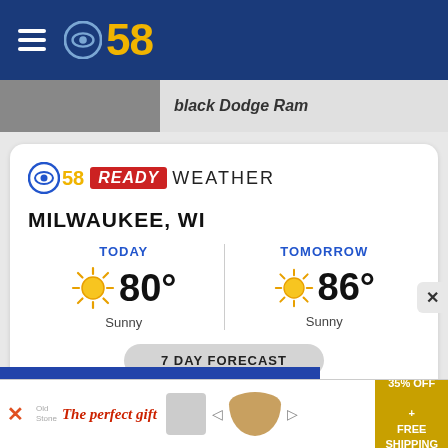CBS58
black Dodge Ram
[Figure (screenshot): CBS58 Ready Weather widget showing Milwaukee, WI forecast: Today 80° Sunny, Tomorrow 86° Sunny, with 7 Day Forecast button]
[Figure (infographic): Advertisement banner: The perfect gift, 35% OFF + FREE SHIPPING]